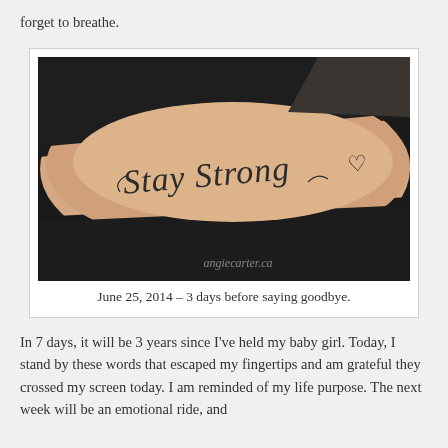forget to breathe.
[Figure (photo): A photo of a forearm tattoo reading 'Stay Strong' in cursive script with a small heart outline, watermarked with 'angiecarter.ca']
June 25, 2014 – 3 days before saying goodbye.
In 7 days, it will be 3 years since I've held my baby girl. Today, I stand by these words that escaped my fingertips and am grateful they crossed my screen today. I am reminded of my life purpose. The next week will be an emotional ride, and